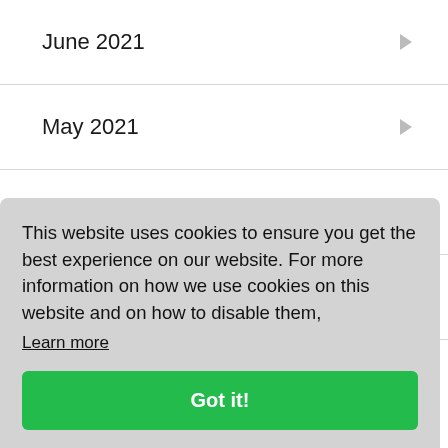June 2021
May 2021
April 2021
March 2021
February 2021
This website uses cookies to ensure you get the best experience on our website. For more information on how we use cookies on this website and on how to disable them,
Learn more
Got it!